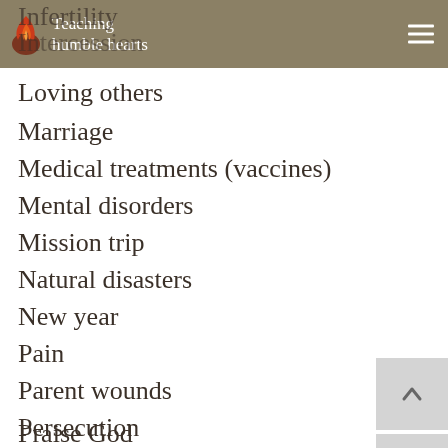Teaching humble hearts
Loving others
Marriage
Medical treatments (vaccines)
Mental disorders
Mission trip
Natural disasters
New year
Pain
Parent wounds
Persecution
Pledges / oaths
Praise God
Pride
Role-playing games
Self as spouse
Self-encouragement